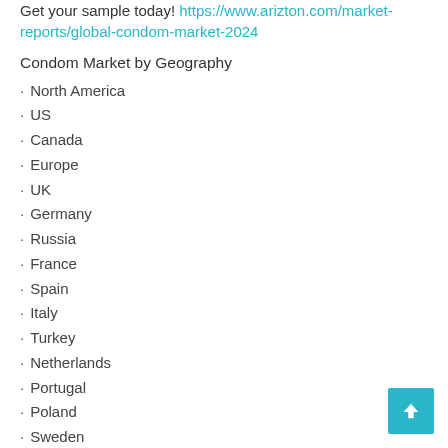Get your sample today! https://www.arizton.com/market-reports/global-condom-market-2024
Condom Market by Geography
• North America
• US
• Canada
• Europe
• UK
• Germany
• Russia
• France
• Spain
• Italy
• Turkey
• Netherlands
• Portugal
• Poland
• Sweden